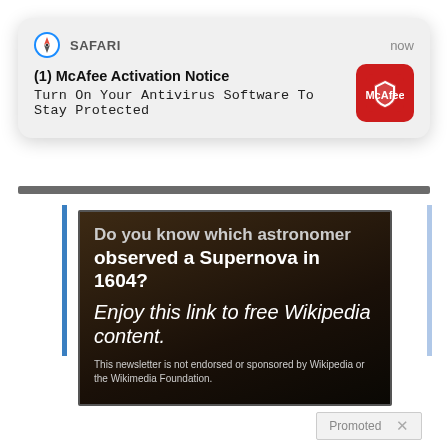[Figure (screenshot): Safari browser notification banner showing McAfee Activation Notice with McAfee red icon]
(1) McAfee Activation Notice
Turn On Your Antivirus Software To Stay Protected
[Figure (screenshot): Dark email content card with Wikipedia trivia and newsletter disclaimer. Text reads: 'Do you know which astronomer observed a Supernova in 1604? Enjoy this link to free Wikipedia content. This newsletter is not endorsed or sponsored by Wikipedia or the Wikimedia Foundation.']
Promoted  ×